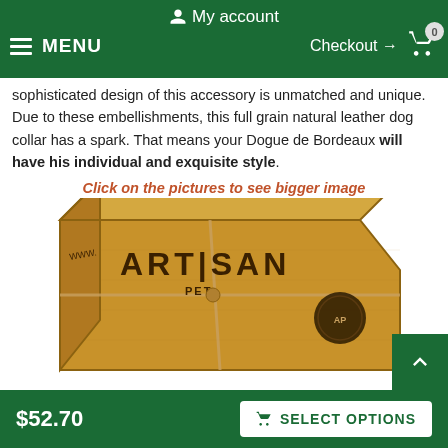My account  ☰ MENU   Checkout → 🛒 0
sophisticated design of this accessory is unmatched and unique. Due to these embellishments, this full grain natural leather dog collar has a spark. That means your Dogue de Bordeaux will have his individual and exquisite style.
Click on the pictures to see bigger image
[Figure (photo): Artisan Pet branded cardboard box wrapped with twine, viewed from an angle, with a wax seal logo.]
$52.70   SELECT OPTIONS